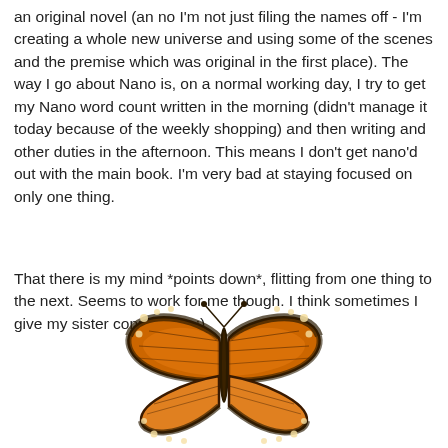an original novel (an no I'm not just filing the names off - I'm creating a whole new universe and using some of the scenes and the premise which was original in the first place). The way I go about Nano is, on a normal working day, I try to get my Nano word count written in the morning (didn't manage it today because of the weekly shopping) and then writing and other duties in the afternoon. This means I don't get nano'd out with the main book. I'm very bad at staying focused on only one thing.
That there is my mind *points down*, flitting from one thing to the next. Seems to work for me though. I think sometimes I give my sister conniptions ;)
[Figure (illustration): A monarch butterfly with orange and black wings, viewed from above, centered on the page.]